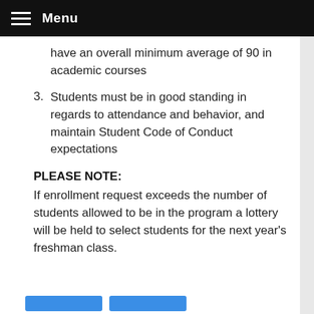Menu
have an overall minimum average of 90 in academic courses
3. Students must be in good standing in regards to attendance and behavior, and maintain Student Code of Conduct expectations
PLEASE NOTE:
If enrollment request exceeds the number of students allowed to be in the program a lottery will be held to select students for the next year's freshman class.